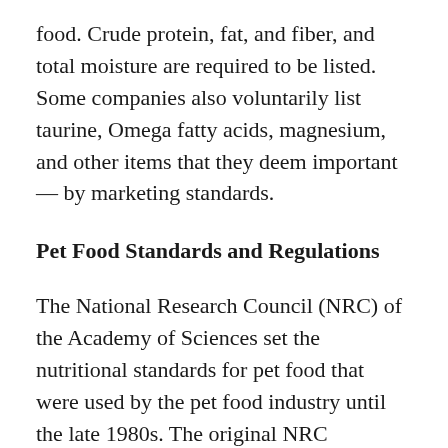food. Crude protein, fat, and fiber, and total moisture are required to be listed. Some companies also voluntarily list taurine, Omega fatty acids, magnesium, and other items that they deem important — by marketing standards.
Pet Food Standards and Regulations
The National Research Council (NRC) of the Academy of Sciences set the nutritional standards for pet food that were used by the pet food industry until the late 1980s. The original NRC standards were based on